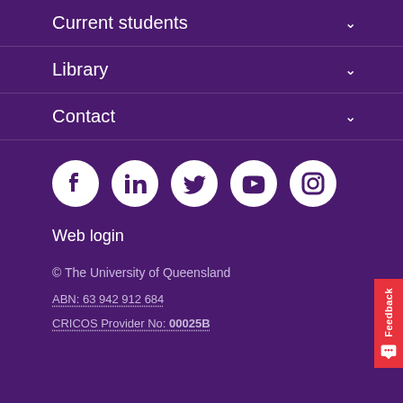Current students
Library
Contact
[Figure (infographic): Row of 5 social media icons: Facebook, LinkedIn, Twitter, YouTube, Instagram — white icons on white circular backgrounds against purple]
Web login
© The University of Queensland
ABN: 63 942 912 684
CRICOS Provider No: 00025B